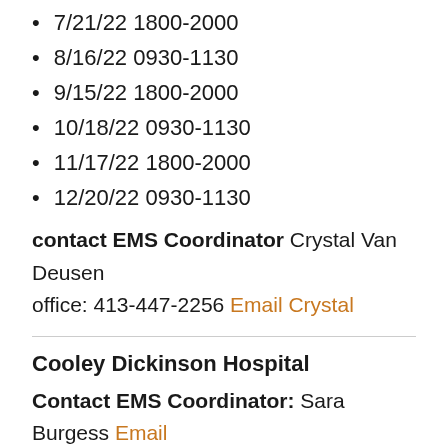7/21/22 1800-2000
8/16/22 0930-1130
9/15/22 1800-2000
10/18/22 0930-1130
11/17/22 1800-2000
12/20/22 0930-1130
contact EMS Coordinator Crystal Van Deusen office: 413-447-2256 Email Crystal
Cooley Dickinson Hospital
Contact EMS Coordinator: Sara Burgess Email Sara